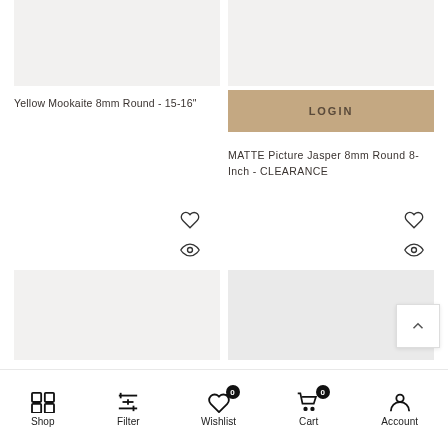[Figure (photo): Product image placeholder - light gray background, Yellow Mookaite]
Yellow Mookaite 8mm Round - 15-16"
[Figure (photo): Product image placeholder - light gray background, MATTE Picture Jasper]
LOGIN
MATTE Picture Jasper 8mm Round 8-Inch - CLEARANCE
[Figure (photo): Next product image placeholder left]
[Figure (photo): Next product image placeholder right]
Shop  Filter  Wishlist 0  Cart 0  Account